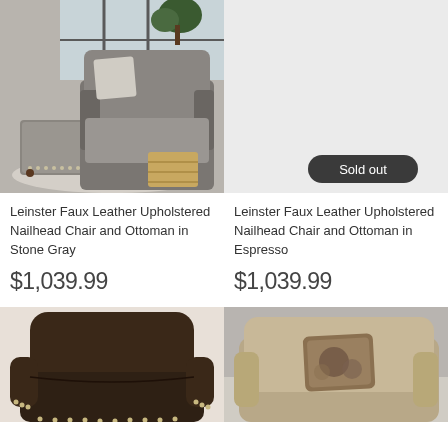[Figure (photo): Gray upholstered chair and ottoman set with nailhead trim in a room setting]
[Figure (photo): Gray/empty background with Sold out badge - Espresso chair and ottoman]
Leinster Faux Leather Upholstered Nailhead Chair and Ottoman in Stone Gray
Leinster Faux Leather Upholstered Nailhead Chair and Ottoman in Espresso
$1,039.99
$1,039.99
[Figure (photo): Dark brown leather chair with nailhead trim]
[Figure (photo): Beige/tan upholstered chair with decorative pillow]